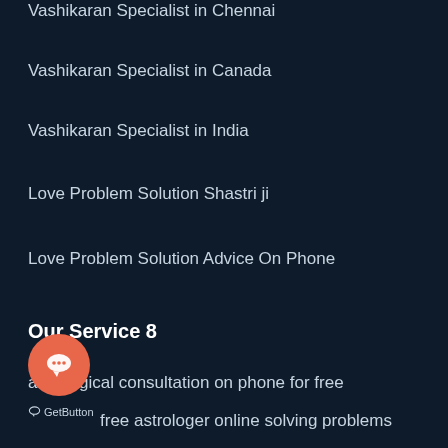Vashikaran Specialist in Chennai
Vashikaran Specialist in Canada
Vashikaran Specialist in India
Love Problem Solution Shastri ji
Love Problem Solution Advice On Phone
Our Service 8
astrological consultation on phone for free
free astrologer online solving problems
GetButton